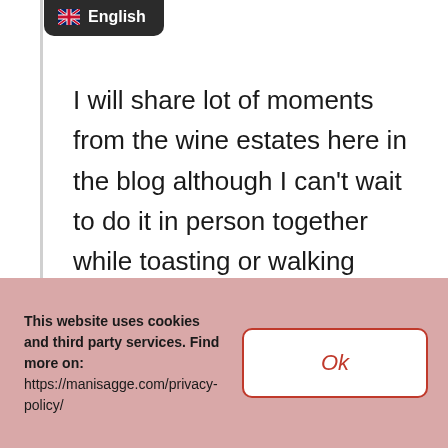[Figure (screenshot): Dark rounded language selector pill showing UK flag emoji and 'English' text]
I will share lot of moments from the wine estates here in the blog although I can't wait to do it in person together while toasting or walking inspired by the beauty of these iconic Unesco hills!
This website uses cookies and third party services. Find more on: https://manisagge.com/privacy-policy/